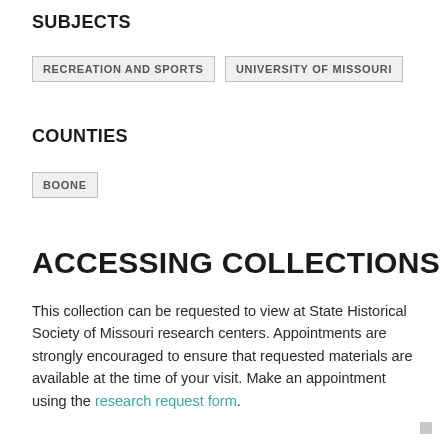SUBJECTS
RECREATION AND SPORTS   UNIVERSITY OF MISSOURI
COUNTIES
BOONE
ACCESSING COLLECTIONS
This collection can be requested to view at State Historical Society of Missouri research centers. Appointments are strongly encouraged to ensure that requested materials are available at the time of your visit. Make an appointment using the research request form.